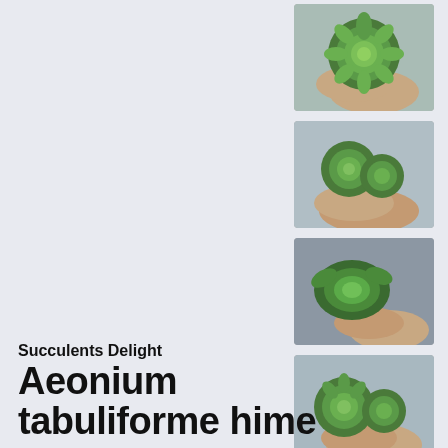[Figure (photo): Thumbnail of green succulent plant (Aeonium tabuliforme) held in hand, top image]
[Figure (photo): Thumbnail of green succulent plant (Aeonium tabuliforme) held in hand, second image]
[Figure (photo): Thumbnail of green succulent plant (Aeonium tabuliforme) held in hand, third image]
[Figure (photo): Thumbnail of green succulent plant (Aeonium tabuliforme) held in hand, fourth image]
Succulents Delight
Aeonium tabuliforme hime